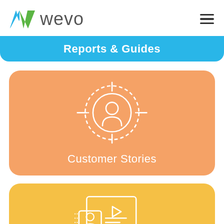[Figure (logo): Wevo logo with blue and green W mark and grey 'wevo' text]
[Figure (other): Hamburger menu icon (three horizontal lines)]
Reports & Guides
[Figure (illustration): Orange card with white target/crosshair icon with person silhouette in center, labeled Customer Stories]
Customer Stories
[Figure (illustration): Yellow card with white webinar/video icon showing person at screen with play button]